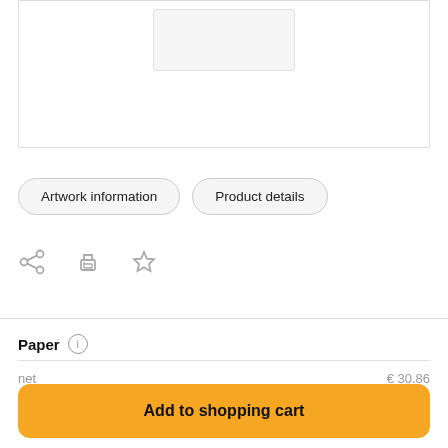[Figure (photo): Product image box showing partial white product shape at top]
Artwork information
Product details
[Figure (other): Icons row: share icon, print icon, star/favorite icon]
Paper
net
incl. VAT 23.00
€ 30.86
€ 37.96
Add to shopping cart